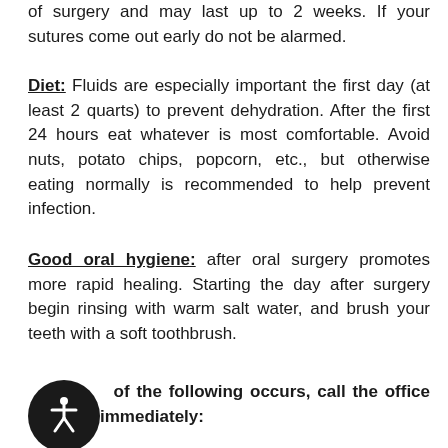of surgery and may last up to 2 weeks. If your sutures come out early do not be alarmed.
Diet: Fluids are especially important the first day (at least 2 quarts) to prevent dehydration. After the first 24 hours eat whatever is most comfortable. Avoid nuts, potato chips, popcorn, etc., but otherwise eating normally is recommended to help prevent infection.
Good oral hygiene: after oral surgery promotes more rapid healing. Starting the day after surgery begin rinsing with warm salt water, and brush your teeth with a soft toothbrush.
If any of the following occurs, call the office immediately: